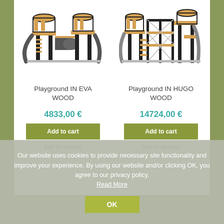[Figure (illustration): Playground IN EVA WOOD product image - a children's playground structure with slides, climbing towers, and wood/black metal components]
[Figure (illustration): Playground IN HUGO WOOD product image - a larger children's playground structure with slides, rope climbing elements, and wood/black metal components]
Playground IN EVA WOOD
Playground IN HUGO WOOD
4833,00 €
14724,00 €
Add to cart
Add to cart
Add to wishlist
Add to wishlist
Our website uses cookies to provide necessary site functionality and improve your experience. By using our website and/or clicking OK, you agree to our privacy policy. Read More
OK